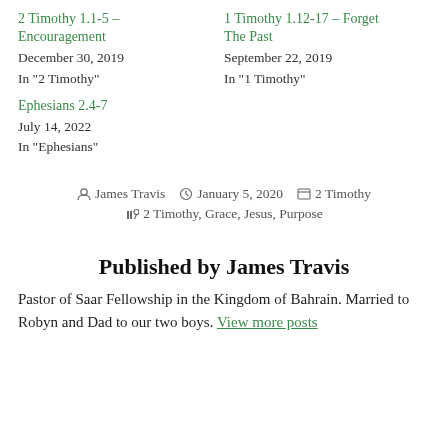2 Timothy 1.1-5 – Encouragement
December 30, 2019
In "2 Timothy"
1 Timothy 1.12-17 – Forget The Past
September 22, 2019
In "1 Timothy"
Ephesians 2.4-7
July 14, 2022
In "Ephesians"
By James Travis  |  January 5, 2020  |  2 Timothy
Tags: 2 Timothy, Grace, Jesus, Purpose
Published by James Travis
Pastor of Saar Fellowship in the Kingdom of Bahrain. Married to Robyn and Dad to our two boys. View more posts